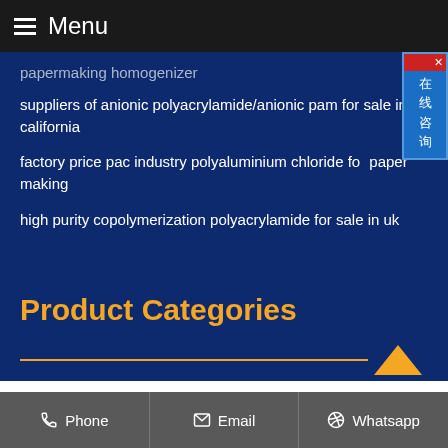Menu
papermaking homogenizer
suppliers of anionic polyacrylamide/anionic pam for sale in california
factory price pac industry polyaluminium chloride for paper making
high purity copolymerization polyacrylamide for sale in uk
Product Categories
Phone  Email  Whatsapp